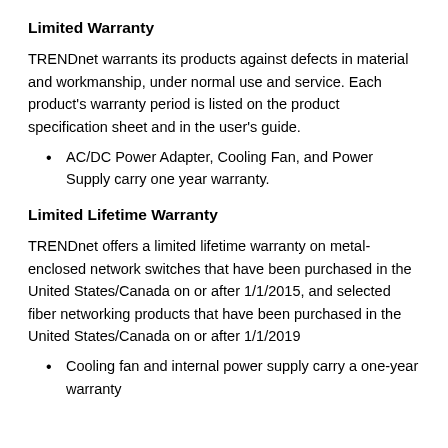Limited Warranty
TRENDnet warrants its products against defects in material and workmanship, under normal use and service. Each product's warranty period is listed on the product specification sheet and in the user's guide.
AC/DC Power Adapter, Cooling Fan, and Power Supply carry one year warranty.
Limited Lifetime Warranty
TRENDnet offers a limited lifetime warranty on metal-enclosed network switches that have been purchased in the United States/Canada on or after 1/1/2015, and selected fiber networking products that have been purchased in the United States/Canada on or after 1/1/2019
Cooling fan and internal power supply carry a one-year warranty